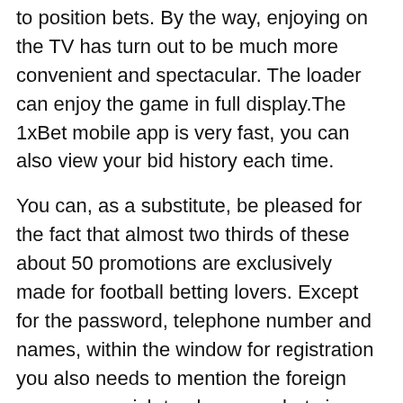to position bets. By the way, enjoying on the TV has turn out to be much more convenient and spectacular. The loader can enjoy the game in full display.The 1xBet mobile app is very fast, you can also view your bid history each time.
You can, as a substitute, be pleased for the fact that almost two thirds of these about 50 promotions are exclusively made for football betting lovers. Except for the password, telephone number and names, within the window for registration you also needs to mention the foreign money you wish to place your bets in. Here, each user can depend on first rate funds, which they get in case of a successful forecast.
Those which have been playing and putting bets